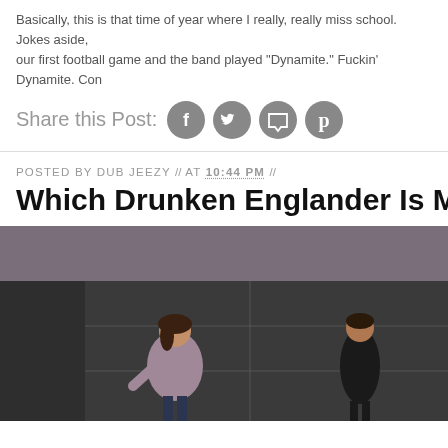Basically, this is that time of year where I really, really miss school. Jokes aside, our first football game and the band played "Dynamite." Fuckin' Dynamite. Con
Share this Post:
POSTED BY DUB JEEZY // AT 10:44 PM //
Which Drunken Englander Is More Dea
[Figure (photo): Four people standing outside at night against a dark granite wall. A woman in a purple top and dark jeans on the left, a person in black in the center, and two women on the right wearing colorful outfits with pink and green leggings.]